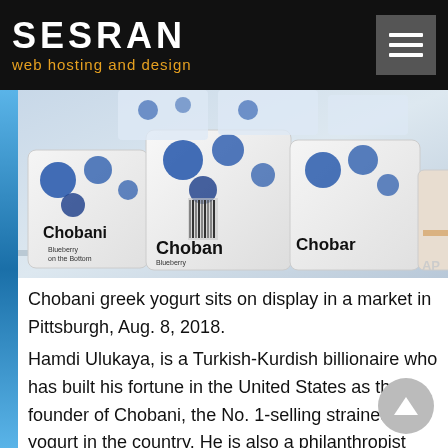SESRAN — web hosting and design
[Figure (photo): Chobani greek yogurt cups with blueberry packaging on display in a market]
Chobani greek yogurt sits on display in a market in Pittsburgh, Aug. 8, 2018.
Hamdi Ulukaya, is a Turkish-Kurdish billionaire who has built his fortune in the United States as the founder of Chobani, the No. 1-selling strained yogurt in the country. He is also a philanthropist who launched the Tent